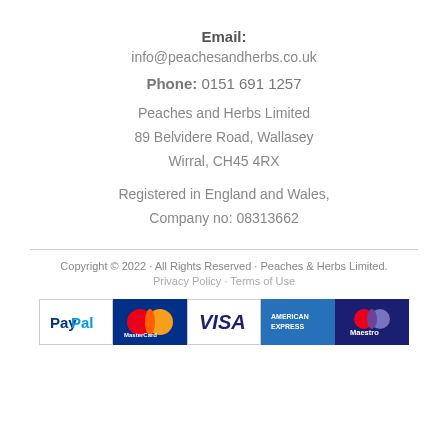Email:
info@peachesandherbs.co.uk
Phone: 0151 691 1257
Peaches and Herbs Limited
89 Belvidere Road, Wallasey
Wirral, CH45 4RX
Registered in England and Wales, Company no: 08313662
Copyright © 2022 · All Rights Reserved · Peaches & Herbs Limited.
Privacy Policy · Terms of Use
[Figure (logo): Payment method logos: PayPal, MasterCard, VISA, American Express, Maestro]